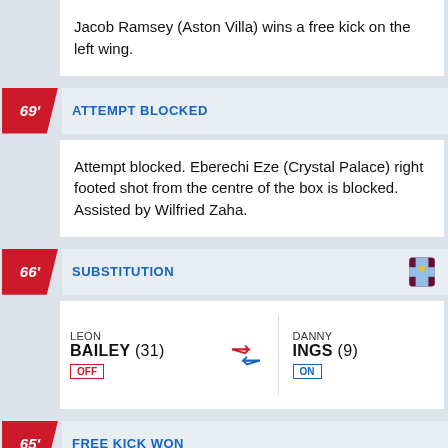Jacob Ramsey (Aston Villa) wins a free kick on the left wing.
69' ATTEMPT BLOCKED
Attempt blocked. Eberechi Eze (Crystal Palace) right footed shot from the centre of the box is blocked. Assisted by Wilfried Zaha.
66' SUBSTITUTION
| Player Off |  | Player On |
| --- | --- | --- |
| LEON BAILEY (31)
OFF | ⇄ | DANNY INGS (9)
ON |
65' FREE KICK WON